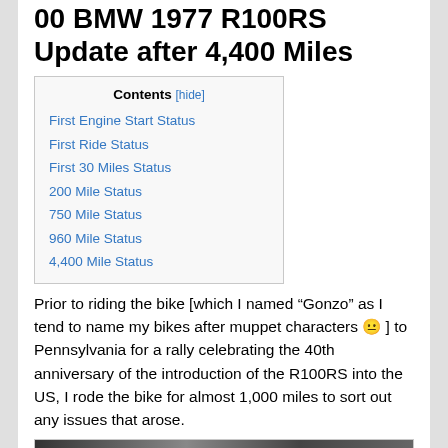00 BMW 1977 R100RS Update after 4,400 Miles
First Engine Start Status
First Ride Status
First 30 Miles Status
200 Mile Status
750 Mile Status
960 Mile Status
4,400 Mile Status
Prior to riding the bike [which I named “Gonzo” as I tend to name my bikes after muppet characters 😐 ] to Pennsylvania for a rally celebrating the 40th anniversary of the introduction of the R100RS into the US, I rode the bike for almost 1,000 miles to sort out any issues that arose.
[Figure (photo): Photograph of a 1977 BMW R100RS motorcycle]